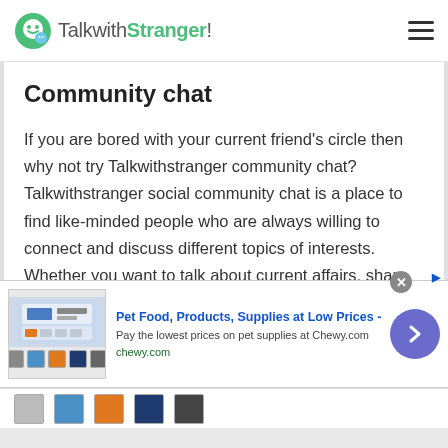TalkwithStranger!
Community chat
If you are bored with your current friend's circle then why not try Talkwithstranger community chat? Talkwithstranger social community chat is a place to find like-minded people who are always willing to connect and discuss different topics of interests. Whether you want to talk about current affairs, share your marriage secret or recent movies, people from different countries are ready to listen to you. If
[Figure (screenshot): Advertisement banner for Chewy.com - Pet Food, Products, Supplies at Low Prices. Shows product images, ad title, description, and navigation button.]